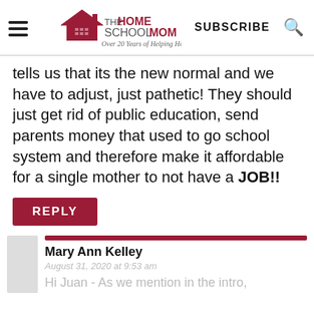THE HOMESCHOOL MOM — Over 20 Years of Helping Homeschoolers! | SUBSCRIBE
tells us that its the new normal and we have to adjust, just pathetic! They should just get rid of public education, send parents money that used to go school system and therefore make it affordable for a single mother to not have a JOB!!
REPLY
Mary Ann Kelley
August 31, 2020 at 9:53 am
Hi Juan - As we mention in the intro,